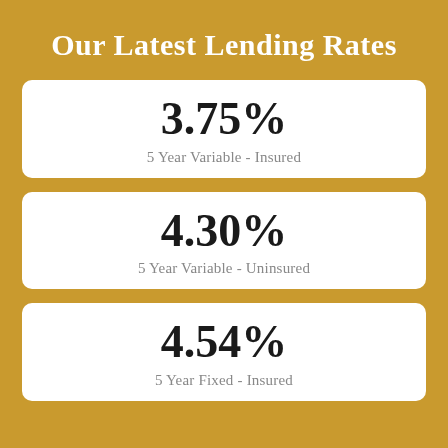Our Latest Lending Rates
3.75%
5 Year Variable - Insured
4.30%
5 Year Variable - Uninsured
4.54%
5 Year Fixed - Insured